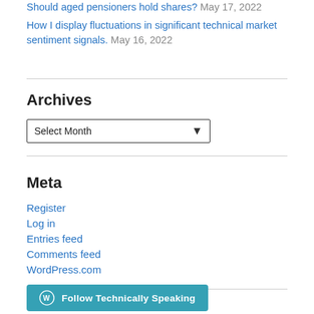Should aged pensioners hold shares? May 17, 2022
How I display fluctuations in significant technical market sentiment signals. May 16, 2022
Archives
Select Month
Meta
Register
Log in
Entries feed
Comments feed
WordPress.com
Follow Technically Speaking